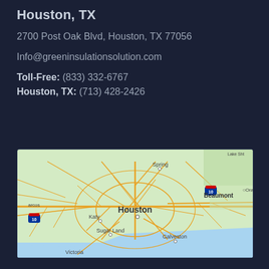Houston, TX
2700 Post Oak Blvd, Houston, TX 77056
Info@greeninsulationsolution.com
Toll-Free: (833) 332-6767
Houston, TX: (713) 428-2426
[Figure (map): Google Maps view showing Houston, TX area including Spring, Beaumont, Orange, Katy, Sugar Land, Galveston, Victoria, and surrounding region with highway network visible.]